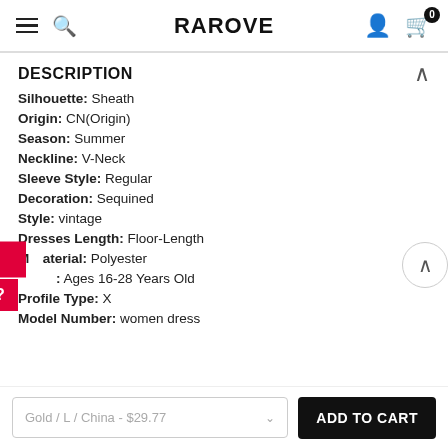RAROVE
DESCRIPTION
Silhouette: Sheath
Origin: CN(Origin)
Season: Summer
Neckline: V-Neck
Sleeve Style: Regular
Decoration: Sequined
Style: vintage
Dresses Length: Floor-Length
Material: Polyester
: Ages 16-28 Years Old
Profile Type: X
Model Number: women dress
Gold / L / China - $29.77
ADD TO CART